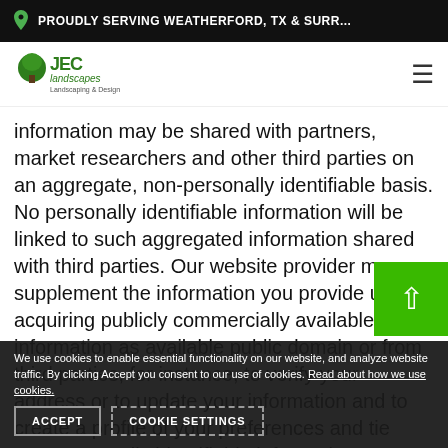PROUDLY SERVING WEATHERFORD, TX & SURR...
[Figure (logo): JEC Landscapes logo with green tree graphic]
information may be shared with partners, market researchers and other third parties on an aggregate, non-personally identifiable basis. No personally identifiable information will be linked to such aggregated information shared with third parties. Our website provider may supplement the information you provide us by acquiring publicly commercially available information as available public domain or from third parties, for instance, to verify your address or to update your information and to create a profile of your preferences and tie your personally identifiable information to information in the profile, in order to improve the content of the website for you or to inform you about products or services that we think will be of interest to you.
We use cookies to enable essential functionality on our website, and analyze website traffic. By clicking Accept you consent to our use of cookies. Read about how we use cookies.